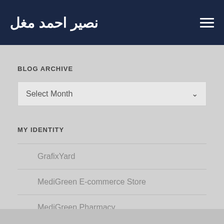نصیر احمد مغل
BLOG ARCHIVE
Select Month
MY IDENTITY
GrafixYard
MediGreen E-commerce Store
MediGreen Pharmacy
Web Design & Development